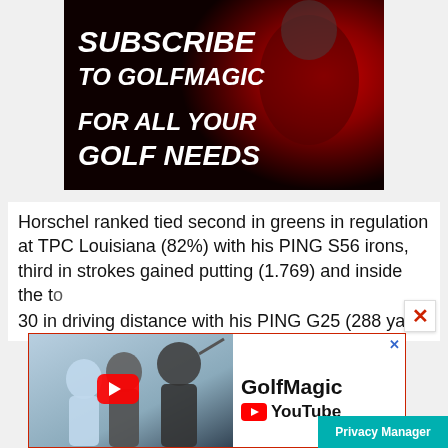[Figure (illustration): Promotional banner for GolfMagic YouTube channel. Dark red/black background with a golfer figure. Bold white italic text reads 'SUBSCRIBE TO GOLFMAGIC' and 'FOR ALL YOUR GOLF NEEDS'.]
Horschel ranked tied second in greens in regulation at TPC Louisiana (82%) with his PING S56 irons, third in strokes gained putting (1.769) and inside the top 30 in driving distance with his PING G25 (288 yar...
[Figure (illustration): GolfMagic YouTube advertisement banner showing three golfers and the GolfMagic YouTube channel branding with a play button icon.]
Privacy Manager